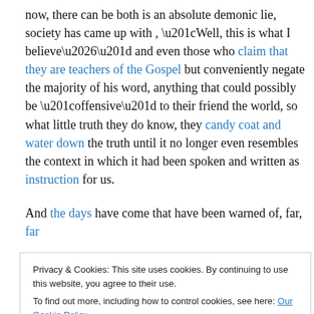now, there can be both is an absolute demonic lie, society has came up with , “Well, this is what I believe…” and even those who claim that they are teachers of the Gospel but conveniently negate the majority of his word, anything that could possibly be “offensive” to their friend the world, so what little truth they do know, they candy coat and water down the truth until it no longer even resembles the context in which it had been spoken and written as instruction for us.
And the days have come that have been warned of, far, far
Privacy & Cookies: This site uses cookies. By continuing to use this website, you agree to their use.
To find out more, including how to control cookies, see here: Our Cookie Policy
I was watching a morning news show several weeks back